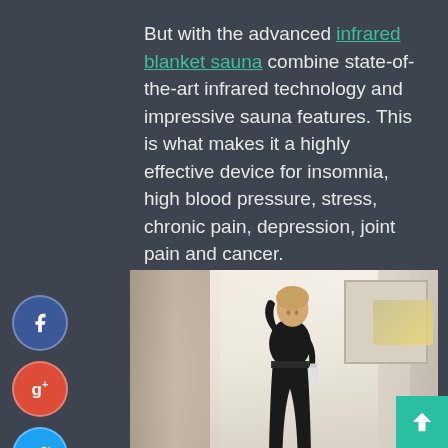But with the advanced infrared blanket sauna combine state-of-the-art infrared technology and impressive sauna features. This is what makes it a highly effective device for insomnia, high blood pressure, stress, chronic pain, depression, joint pain and cancer.
[Figure (photo): A woman in black athletic wear holding a water bottle, standing in a room with curtains and a window, looking tired or post-workout]